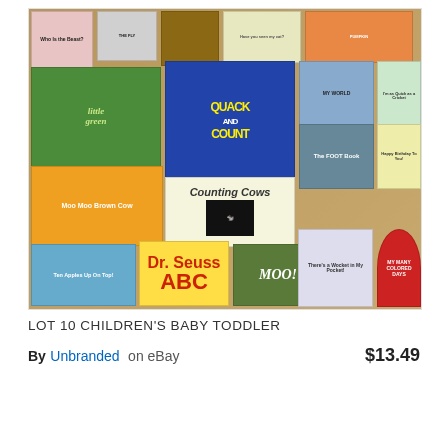[Figure (photo): A collage of children's board books and picture books laid out overlapping each other. Visible titles include 'Who Is the Beast?', 'Little Green', 'Quack and Count', 'Counting Cows', 'Moo Moo Brown Cow', 'Dr. Seuss ABC', 'Ten Apples Up On Top!', 'The Foot Book', 'Happy Birthday To You!', 'There's a Wocket in My Pocket!', 'My Many Colored Days', and others. Books are colorful and aimed at babies and toddlers.]
LOT 10 CHILDREN'S BABY TODDLER
By Unbranded on eBay   $13.49